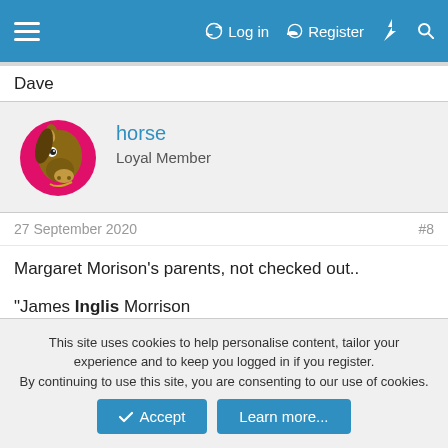Log in  Register
Dave
horse
Loyal Member
27 September 2020  #8
Margaret Morison's parents, not checked out..

"James Inglis Morrison
1848–1921

Mary Ballantyne
1847–1914"
This site uses cookies to help personalise content, tailor your experience and to keep you logged in if you register.
By continuing to use this site, you are consenting to our use of cookies.